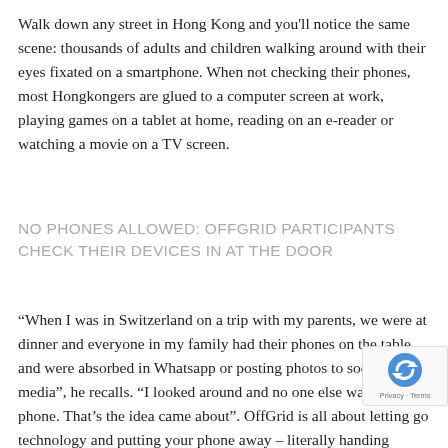Walk down any street in Hong Kong and you'll notice the same scene: thousands of adults and children walking around with their eyes fixated on a smartphone. When not checking their phones, most Hongkongers are glued to a computer screen at work, playing games on a tablet at home, reading on an e-reader or watching a movie on a TV screen.
NO PHONES ALLOWED: OFFGRID PARTICIPANTS CHECK THEIR DEVICES IN AT THE DOOR
“When I was in Switzerland on a trip with my parents, we were at dinner and everyone in my family had their phones on the table and were absorbed in Whatsapp or posting photos to social media”, he recalls. “I looked around and no one else was on their phone. That’s the idea came about”. OffGrid is all about letting go technology and putting your phone away – literally handing